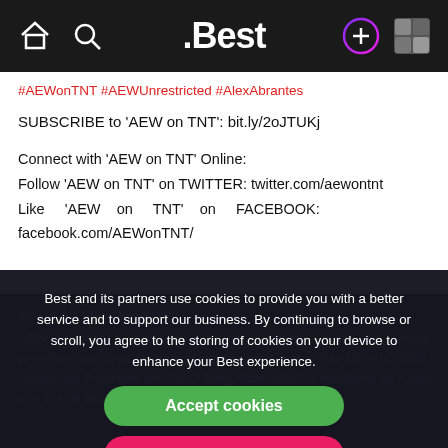.Best
#AEWonTNT #AEWUnrestricted #AlexAbrantes
SUBSCRIBE to 'AEW on TNT': bit.ly/2oJTUKj
Connect with 'AEW on TNT' Online:
Follow 'AEW on TNT' on TWITTER: twitter.com/aewontnt
Like 'AEW on TNT' on FACEBOOK: facebook.com/AEWonTNT/
Best and its partners use cookies to provide you with a better service and to support our business. By continuing to browse or scroll, you agree to the storing of cookies on your device to enhance your Best experience.
Accept cookies
Only essentials
Learn more about our privacy policy.
About All Elite Wrestling:
AEW features a world-class roster of diverse male and female wrestlers, giving a wrestling experience for the first time in AEW, headed by President and CEO Tony Khan. AEW is headlined by Cody and Brandi Rho...